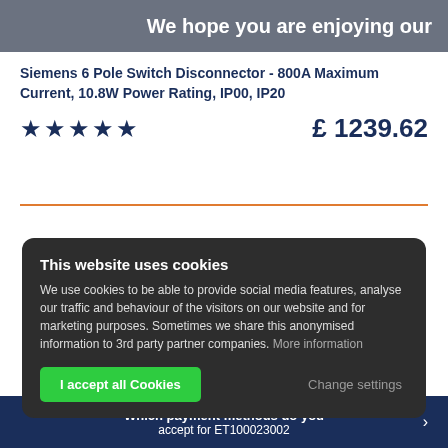We hope you are enjoying our
Siemens 6 Pole Switch Disconnector - 800A Maximum Current, 10.8W Power Rating, IP00, IP20
★★★★★   £ 1239.62
This website uses cookies
We use cookies to be able to provide social media features, analyse our traffic and behaviour of the visitors on our website and for marketing purposes. Sometimes we share this anonymised information to 3rd party partner companies. More information
I accept all Cookies   Change settings
Which payment methods do you accept for ET100023002